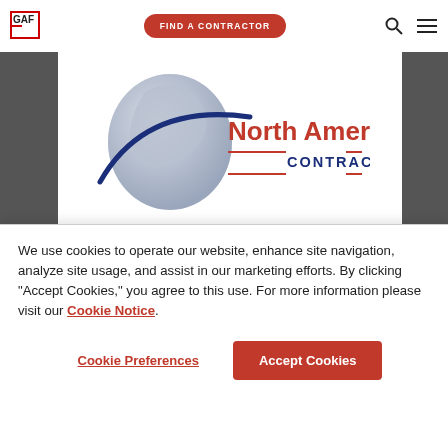[Figure (logo): GAF logo top left - red square outline with text GAF]
[Figure (other): Find a Contractor red pill button in navigation bar]
[Figure (logo): North American Contractors logo - globe with swoosh and red/navy text]
We use cookies to operate our website, enhance site navigation, analyze site usage, and assist in our marketing efforts. By clicking "Accept Cookies," you agree to this use. For more information please visit our Cookie Notice.
Cookie Preferences
Accept Cookies